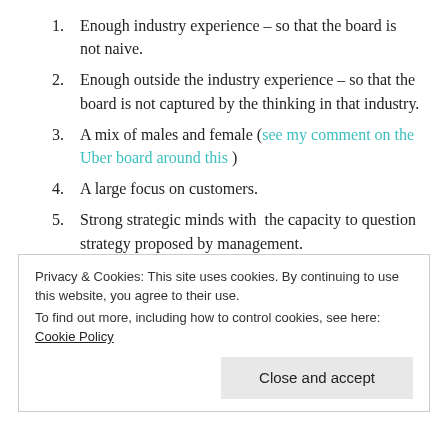Enough industry experience – so that the board is not naive.
Enough outside the industry experience – so that the board is not captured by the thinking in that industry.
A mix of males and female (see my comment on the Uber board around this )
A large focus on customers.
Strong strategic minds with  the capacity to question strategy proposed by management.
Privacy & Cookies: This site uses cookies. By continuing to use this website, you agree to their use.
To find out more, including how to control cookies, see here: Cookie Policy
Close and accept